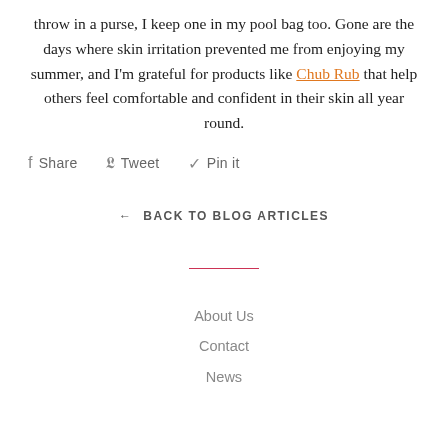throw in a purse, I keep one in my pool bag too. Gone are the days where skin irritation prevented me from enjoying my summer, and I'm grateful for products like Chub Rub that help others feel comfortable and confident in their skin all year round.
Share  Tweet  Pin it
← BACK TO BLOG ARTICLES
About Us
Contact
News